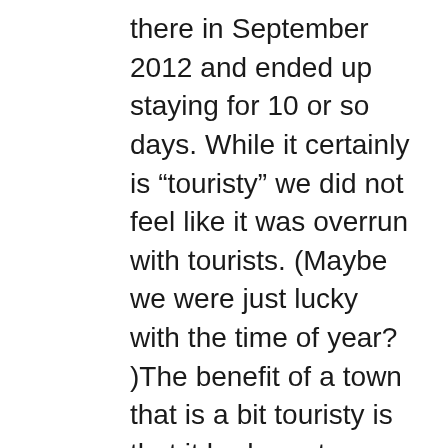there in September 2012 and ended up staying for 10 or so days. While it certainly is “touristy” we did not feel like it was overrun with tourists. (Maybe we were just lucky with the time of year? )The benefit of a town that is a bit touristy is that it had great restaurants, bars and accommodations. (after traveling for 6 weeks in Cambodia and Laos we were especially in the market for some good food, comfortable beds and great massages) We found the people to be very charming and enjoyed playing with the kids. The day trips out of town to the waterfalls and villages were a pleasure. eating meals on the river were delightful. We got a message almost every day for $10 or so. We took a trip up the Nam Khan river to Nong Khiaw that we enjoyed thoroughly. While the alms ceremony